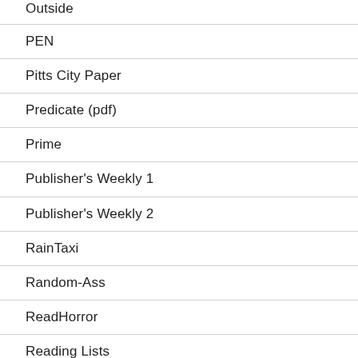Outside
PEN
Pitts City Paper
Predicate (pdf)
Prime
Publisher's Weekly 1
Publisher's Weekly 2
RainTaxi
Random-Ass
ReadHorror
Reading Lists
Reddit AMA